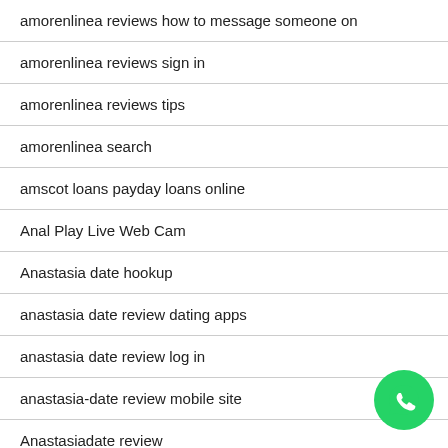amorenlinea reviews how to message someone on
amorenlinea reviews sign in
amorenlinea reviews tips
amorenlinea search
amscot loans payday loans online
Anal Play Live Web Cam
Anastasia date hookup
anastasia date review dating apps
anastasia date review log in
anastasia-date review mobile site
Anastasiadate review
Anastasiadate reviews
anastasiadate sign up